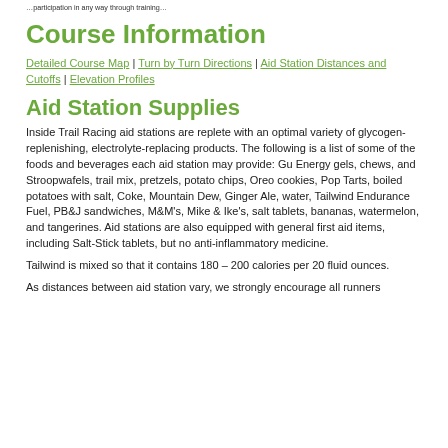…participation in any way through training…
Course Information
Detailed Course Map | Turn by Turn Directions | Aid Station Distances and Cutoffs | Elevation Profiles
Aid Station Supplies
Inside Trail Racing aid stations are replete with an optimal variety of glycogen-replenishing, electrolyte-replacing products. The following is a list of some of the foods and beverages each aid station may provide: Gu Energy gels, chews, and Stroopwafels, trail mix, pretzels, potato chips, Oreo cookies, Pop Tarts, boiled potatoes with salt, Coke, Mountain Dew, Ginger Ale, water, Tailwind Endurance Fuel, PB&J sandwiches, M&M's, Mike & Ike's, salt tablets, bananas, watermelon, and tangerines. Aid stations are also equipped with general first aid items, including Salt-Stick tablets, but no anti-inflammatory medicine.
Tailwind is mixed so that it contains 180 – 200 calories per 20 fluid ounces.
As distances between aid station vary, we strongly encourage all runners